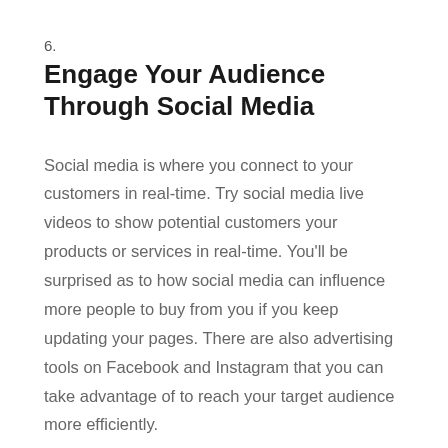6.
Engage Your Audience Through Social Media
Social media is where you connect to your customers in real-time. Try social media live videos to show potential customers your products or services in real-time. You’ll be surprised as to how social media can influence more people to buy from you if you keep updating your pages. There are also advertising tools on Facebook and Instagram that you can take advantage of to reach your target audience more efficiently.